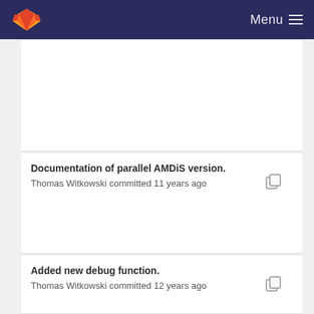GitLab — Menu
Documentation of parallel AMDiS version.
Thomas Witkowski committed 11 years ago
Added new debug function.
Thomas Witkowski committed 12 years ago
Documentation of parallel AMDiS version.